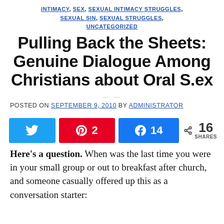INTIMACY, SEX, SEXUAL INTIMACY STRUGGLES, SEXUAL SIN, SEXUAL STRUGGLES, UNCATEGORIZED
Pulling Back the Sheets: Genuine Dialogue Among Christians about Oral S.ex
POSTED ON SEPTEMBER 9, 2010 BY ADMINISTRATOR
[Figure (infographic): Social share buttons: Twitter (blue), Pinterest with count 2 (red), Facebook with count 14 (blue), and total 16 SHARES with share icon]
Here's a question. When was the last time you were in your small group or out to breakfast after church, and someone casually offered up this as a conversation starter: